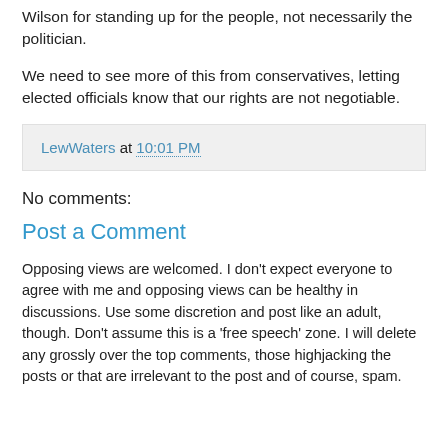Wilson for standing up for the people, not necessarily the politician.
We need to see more of this from conservatives, letting elected officials know that our rights are not negotiable.
LewWaters at 10:01 PM
No comments:
Post a Comment
Opposing views are welcomed. I don't expect everyone to agree with me and opposing views can be healthy in discussions. Use some discretion and post like an adult, though. Don't assume this is a 'free speech' zone. I will delete any grossly over the top comments, those highjacking the posts or that are irrelevant to the post and of course, spam.